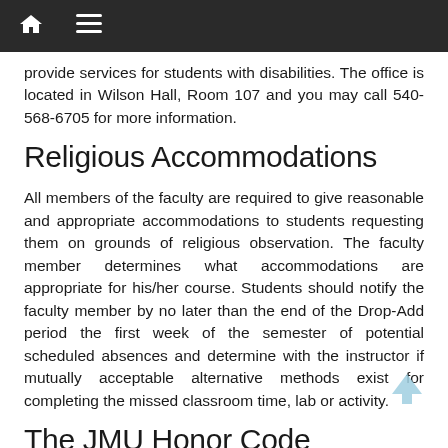Navigation bar with home and menu icons
provide services for students with disabilities. The office is located in Wilson Hall, Room 107 and you may call 540-568-6705 for more information.
Religious Accommodations
All members of the faculty are required to give reasonable and appropriate accommodations to students requesting them on grounds of religious observation. The faculty member determines what accommodations are appropriate for his/her course. Students should notify the faculty member by no later than the end of the Drop-Add period the first week of the semester of potential scheduled absences and determine with the instructor if mutually acceptable alternative methods exist for completing the missed classroom time, lab or activity.
The JMU Honor Code